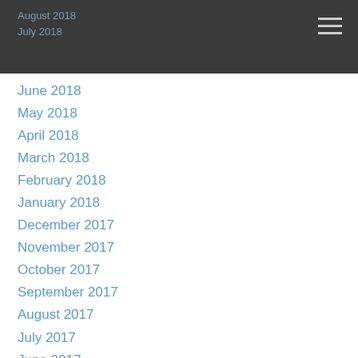August 2018
July 2018
June 2018
May 2018
April 2018
March 2018
February 2018
January 2018
December 2017
November 2017
October 2017
September 2017
August 2017
July 2017
June 2017
May 2017
April 2017
March 2017
February 2017